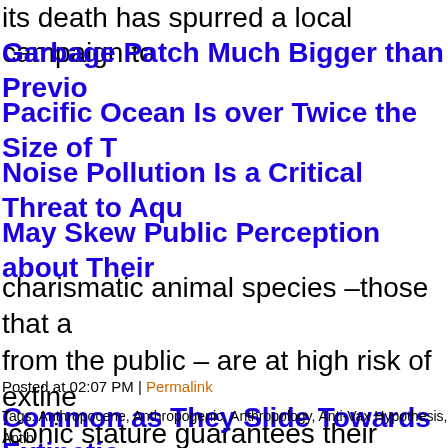its death has spurred a local campaign to
Garbage Patch Much Bigger than Previo...
Pacific Ocean Is over Twice the Size of T...
Noise Pollution Is a Critical Threat to Aqu...
May Skew Public Perception about Their...
charismatic animal species –those that a... from the public – are at high risk of extine... iconic stature guarantees their survival.
Common as They Slide Towards Extinction Everywhere. Falling Stars: 10 of the Most... Remembrance Day for Lost Species. Gia...
Posted at 02:07 PM | Permalink
Tags: Anthropocene, Anthropogenic, Anthropology, Anti-Vax Hypothesis, Antib... (Trumpogenic), Climate Change, Communication, Cordon Sanitaire, Correlatio... Extinction, Left of Outbreak, March for Science, Memorials, Migrant Health, Na...